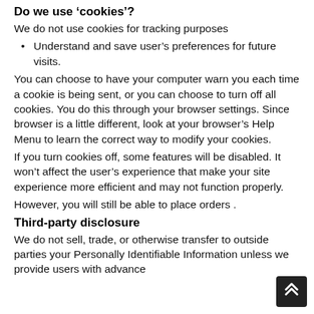Do we use 'cookies'?
We do not use cookies for tracking purposes
Understand and save user's preferences for future visits.
You can choose to have your computer warn you each time a cookie is being sent, or you can choose to turn off all cookies. You do this through your browser settings. Since browser is a little different, look at your browser's Help Menu to learn the correct way to modify your cookies.
If you turn cookies off, some features will be disabled. It won't affect the user's experience that make your site experience more efficient and may not function properly.
However, you will still be able to place orders .
Third-party disclosure
We do not sell, trade, or otherwise transfer to outside parties your Personally Identifiable Information unless we provide users with advance